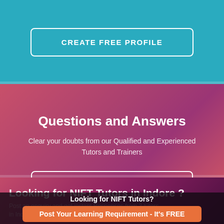CREATE FREE PROFILE
Questions and Answers
Clear your doubts from our Qualified and Experienced Tutors and Trainers
ASK NOW
Looking for NIFT Tutors in Indore ?
Post an enquiry and get instant Responses from 3 tutors in Indore
Looking for NIFT Tutors?
Post Your Learning Requirement - It's FREE